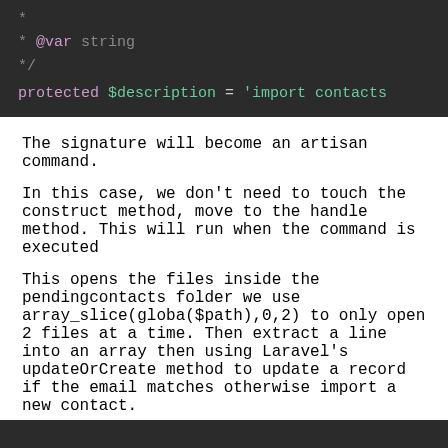[Figure (screenshot): Code block showing PHP comment and protected property: * @var string */ protected $description = 'import contacts]
The signature will become an artisan command.
In this case, we don't need to touch the construct method, move to the handle method. This will run when the command is executed
This opens the files inside the pendingcontacts folder we use array_slice(globa($path),0,2) to only open 2 files at a time. Then extract a line into an array then using Laravel's updateOrCreate method to update a record if the email matches otherwise import a new contact.
[Figure (screenshot): Bottom of dark code block, partial]